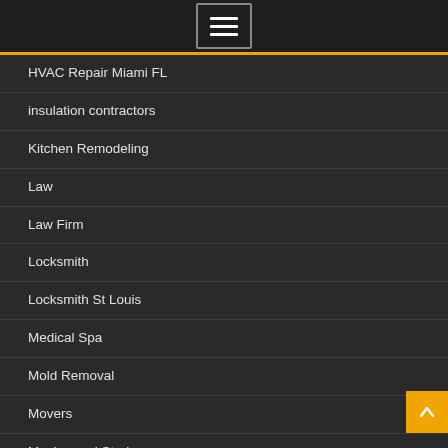Navigation menu toggle button
HVAC Repair Miami FL
insulation contractors
Kitchen Remodeling
Law
Law Firm
Locksmith
Locksmith St Louis
Medical Spa
Mold Removal
Movers
Moving and Storing
Painter